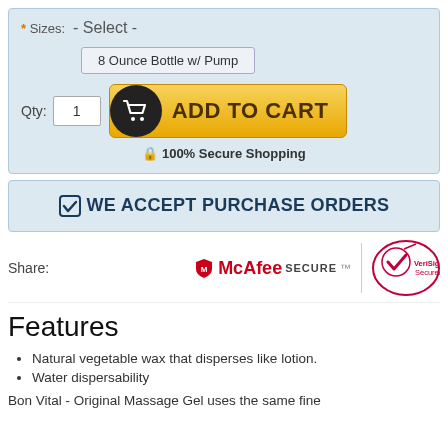* Sizes: - Select -
8 Ounce Bottle w/ Pump
Qty: 1  ADD TO CART
🔒 100% Secure Shopping
☑ WE ACCEPT PURCHASE ORDERS
Share:
[Figure (logo): McAfee SECURE logo and VeriSign Secured badge]
Features
Natural vegetable wax that disperses like lotion.
Water dispersability
Bon Vital - Original Massage Gel uses the same fine